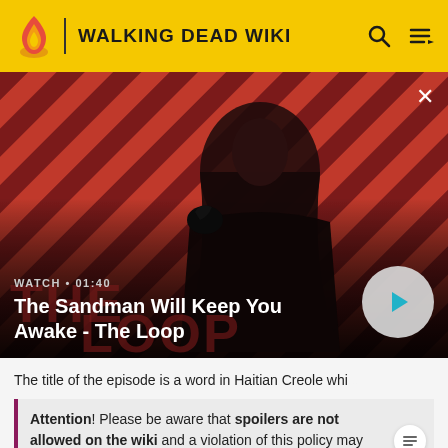WALKING DEAD WIKI
[Figure (screenshot): Video thumbnail showing a man in black with a raven on his shoulder against a red and black diagonal striped background. Text overlay reads WATCH • 01:40 and The Sandman Will Keep You Awake - The Loop with a play button.]
The title of the episode is a word in Haitian Creole whi...
Attention! Please be aware that spoilers are not allowed on the wiki and a violation of this policy may result in a ban.
READ MORE